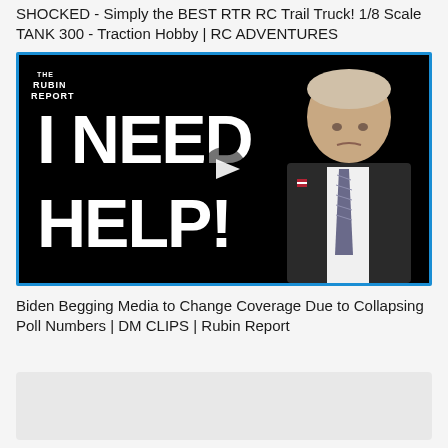SHOCKED - Simply the BEST RTR RC Trail Truck! 1/8 Scale TANK 300 - Traction Hobby | RC ADVENTURES
[Figure (screenshot): Video thumbnail from The Rubin Report showing text 'I NEED HELP!' in bold white letters on a black background, with a man in a dark suit and tie on the right side. A play button icon is visible in the center.]
Biden Begging Media to Change Coverage Due to Collapsing Poll Numbers | DM CLIPS | Rubin Report